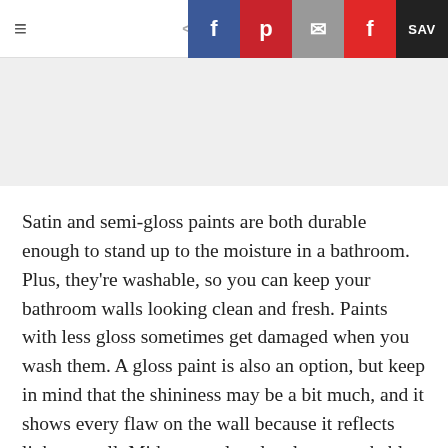≡  <  f  p  ✉  f  SAV
[Figure (other): Gray banner/advertisement placeholder area]
Satin and semi-gloss paints are both durable enough to stand up to the moisture in a bathroom. Plus, they're washable, so you can keep your bathroom walls looking clean and fresh. Paints with less gloss sometimes get damaged when you wash them. A gloss paint is also an option, but keep in mind that the shininess may be a bit much, and it shows every flaw on the wall because it reflects light so well. Mid-range gloss levels are washable and durable without highlighting dents and